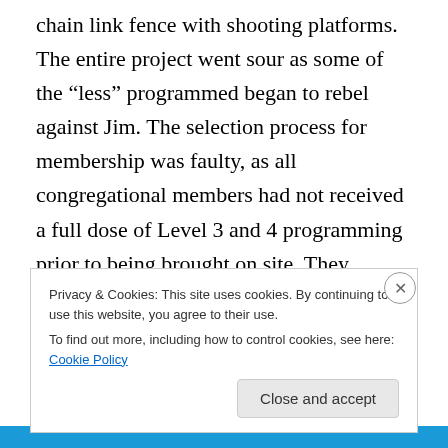chain link fence with shooting platforms. The entire project went sour as some of the “less” programmed began to rebel against Jim. The selection process for membership was faulty, as all congregational members had not received a full dose of Level 3 and 4 programming prior to being brought on site. They rebelled against his “way of life”, and wanted to take their young and leave.
No one was permitted to ever leave before they were fu—
Privacy & Cookies: This site uses cookies. By continuing to use this website, you agree to their use.
To find out more, including how to control cookies, see here: Cookie Policy